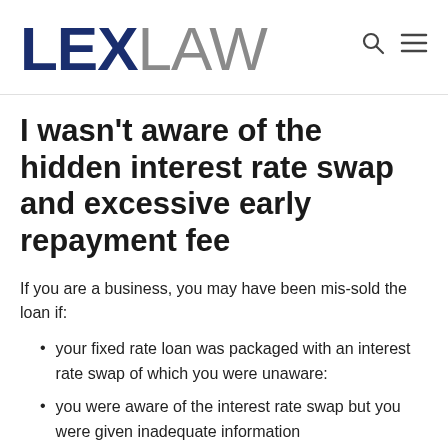LEXLAW
I wasn't aware of the hidden interest rate swap and excessive early repayment fee
If you are a business, you may have been mis-sold the loan if:
your fixed rate loan was packaged with an interest rate swap of which you were unaware:
you were aware of the interest rate swap but you were given inadequate information